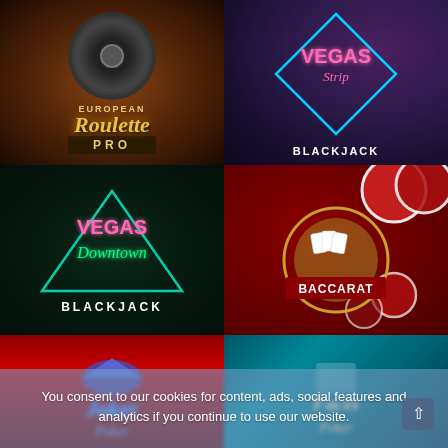[Figure (screenshot): European Roulette Pro game thumbnail - brown wood grain background with roulette wheel and gold script text]
[Figure (screenshot): Vegas Strip Blackjack game thumbnail - purple dark background with neon cyan diamond frame and pink VEGAS Strip text, white BLACKJACK text]
[Figure (screenshot): Vegas Downtown Blackjack game thumbnail - dark green background with teal triangle outline, pink VEGAS neon, green Downtown script, white BLACKJACK text]
[Figure (screenshot): Baccarat game thumbnail - dark red background with gold circular emblem, poker chips, cards, and BACCARAT label]
[Figure (screenshot): Joker Poker game thumbnail - dark red background with blue neon Joker Poker script text (partially visible)]
[Figure (screenshot): Faces Poker game thumbnail - teal/dark blue background with golden Faces Poker script text (partially visible)]
You consent to our cookies for content, ads, social features and analytics if you continue to use our website.